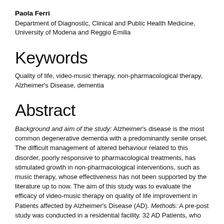Paola Ferri
Department of Diagnostic, Clinical and Public Health Medicine, University of Modena and Reggio Emilia
Keywords
Quality of life, video-music therapy, non-pharmacological therapy, Alzheimer's Disease, dementia
Abstract
Background and aim of the study: Alzheimer's disease is the most common degenerative dementia with a predominantly senile onset. The difficult management of altered behaviour related to this disorder, poorly responsive to pharmacological treatments, has stimulated growth in non-pharmacological interventions, such as music therapy, whose effectiveness has not been supported by the literature up to now. The aim of this study was to evaluate the efficacy of video-music therapy on quality of life improvement in Patients affected by Alzheimer's Disease (AD). Methods: A pre-post study was conducted in a residential facility. 32 AD Patients, who